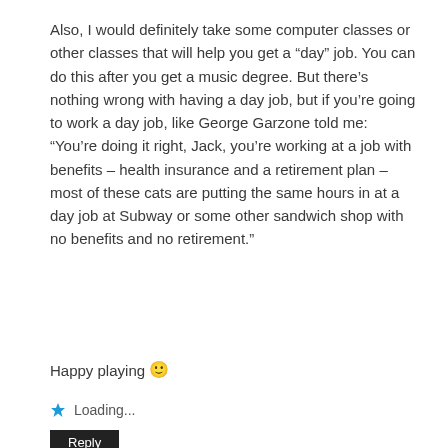Also, I would definitely take some computer classes or other classes that will help you get a “day” job. You can do this after you get a music degree. But there’s nothing wrong with having a day job, but if you’re going to work a day job, like George Garzone told me: “You’re doing it right, Jack, you’re working at a job with benefits – health insurance and a retirement plan – most of these cats are putting the same hours in at a day job at Subway or some other sandwich shop with no benefits and no retirement.”
Happy playing 🙂
Loading...
Reply